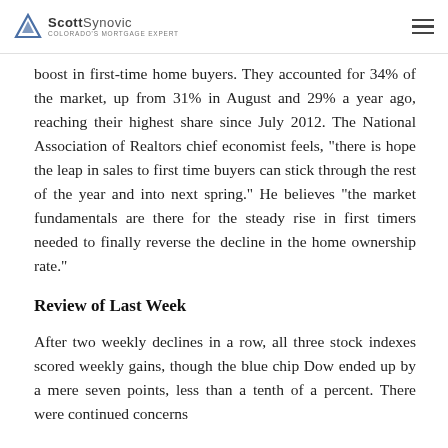ScottSynovic Colorado's Mortgage Expert
boost in first-time home buyers. They accounted for 34% of the market, up from 31% in August and 29% a year ago, reaching their highest share since July 2012. The National Association of Realtors chief economist feels, "there is hope the leap in sales to first time buyers can stick through the rest of the year and into next spring." He believes "the market fundamentals are there for the steady rise in first timers needed to finally reverse the decline in the home ownership rate."
Review of Last Week
After two weekly declines in a row, all three stock indexes scored weekly gains, though the blue chip Dow ended up by a mere seven points, less than a tenth of a percent. There were continued concerns